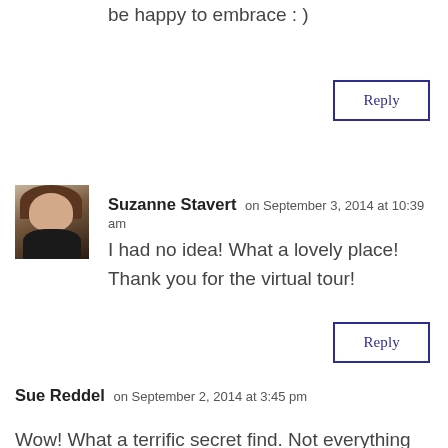be happy to embrace : )
Reply
Suzanne Stavert on September 3, 2014 at 10:39 am
[Figure (photo): Avatar portrait photo of Suzanne Stavert]
I had no idea! What a lovely place! Thank you for the virtual tour!
Reply
Sue Reddel on September 2, 2014 at 3:45 pm
Wow! What a terrific secret find. Not everything that is in Las Vegas should stay there. Great photos make the story even better.Thanks for letting the cat out of the